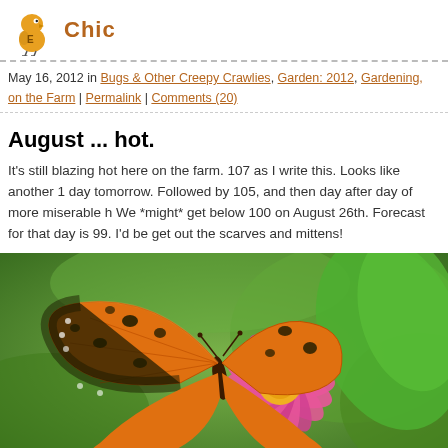Chic...
May 16, 2012 in Bugs & Other Creepy Crawlies, Garden: 2012, Gardening, on the Farm | Permalink | Comments (20)
August ... hot.
It's still blazing hot here on the farm. 107 as I write this. Looks like another 1 day tomorrow. Followed by 105, and then day after day of more miserable h We *might* get below 100 on August 26th. Forecast for that day is 99. I'd be get out the scarves and mittens!
[Figure (photo): Orange and black butterfly (Gulf Fritillary) resting on a bright pink zinnia flower with green foliage in the background.]